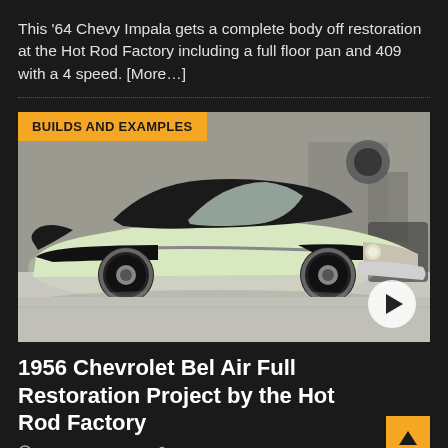This '64 Chevy Impala gets a complete body off restoration at the Hot Rod Factory including a full floor pan and 409 with a 4 speed. [More…]
[Figure (photo): 1956 Chevrolet Bel Air classic car in cream and black two-tone finish, parked in a garage/workshop setting. Badge overlay reads 'BUILDS AND EXAMPLES'. Play button overlay in bottom right corner.]
1956 Chevrolet Bel Air Full Restoration Project by the Hot Rod Factory
January 15, 2019   Roadkill Customs